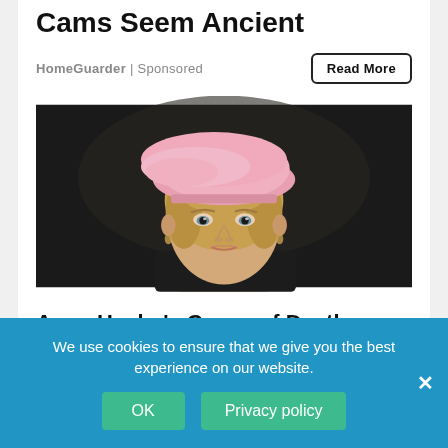Cams Seem Ancient
HomeGuarder | Sponsored
[Figure (photo): Portrait of Anne Heche wearing a pink beret hat against a dark background]
Anne Heche's Cause of Death Revealed
E! Online | Sponsored
We use cookies to ensure that we give you the best experience on our website.